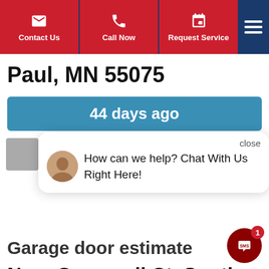Contact Us | Call Now | Request Service
Paul, MN 55075
44 days ago
Garage door estimate
[Figure (screenshot): Chat popup with avatar saying 'How can we help? Chat With Us Right Here!']
Near Cromwell Ct, South Saint Paul, MN 55076